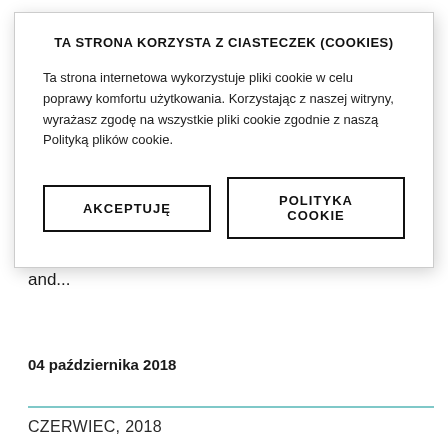reference stations worldwide, arrives in Mexico City and...
04 października 2018
CZERWIEC, 2018
TA STRONA KORZYSTA Z CIASTECZEK (COOKIES)
Ta strona internetowa wykorzystuje pliki cookie w celu poprawy komfortu użytkowania. Korzystając z naszej witryny, wyrażasz zgodę na wszystkie pliki cookie zgodnie z naszą Polityką plików cookie.
AKCEPTUJĘ
POLITYKA COOKIE